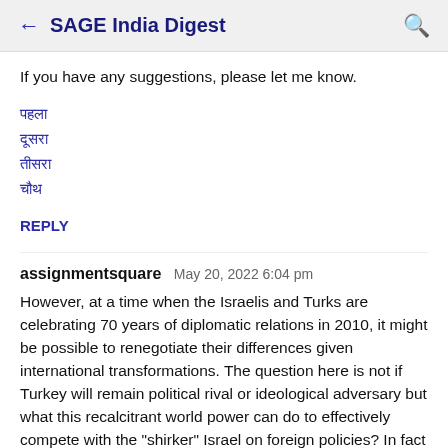← SAGE India Digest 🔍
If you have any suggestions, please let me know.
पहला
दूसरा
तीसरा
चौथ
REPLY
assignmentsquare  May 20, 2022 6:04 pm
However, at a time when the Israelis and Turks are celebrating 70 years of diplomatic relations in 2010, it might be possible to renegotiate their differences given international transformations. The question here is not if Turkey will remain political rival or ideological adversary but what this recalcitrant world power can do to effectively compete with the "shirker" Israel on foreign policies? In fact what must be discussed here